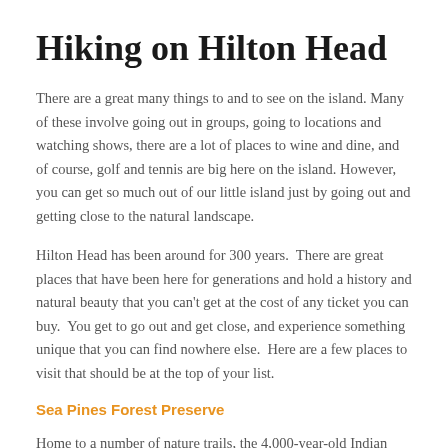Hiking on Hilton Head
There are a great many things to and to see on the island. Many of these involve going out in groups, going to locations and watching shows, there are a lot of places to wine and dine, and of course, golf and tennis are big here on the island. However, you can get so much out of our little island just by going out and getting close to the natural landscape.
Hilton Head has been around for 300 years.  There are great places that have been here for generations and hold a history and natural beauty that you can't get at the cost of any ticket you can buy.  You get to go out and get close, and experience something unique that you can find nowhere else.  Here are a few places to visit that should be at the top of your list.
Sea Pines Forest Preserve
Home to a number of nature trails, the 4,000-year-old Indian